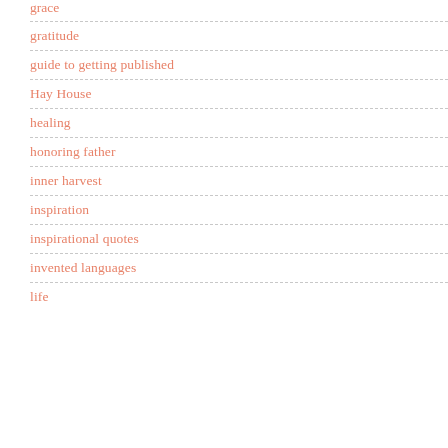grace
gratitude
guide to getting published
Hay House
healing
honoring father
inner harvest
inspiration
inspirational quotes
invented languages
life